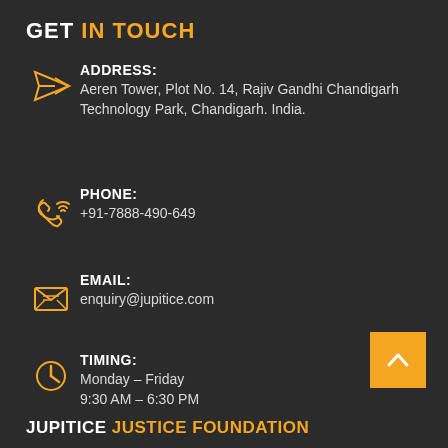GET IN TOUCH
ADDRESS:
Aeren Tower, Plot No. 14, Rajiv Gandhi Chandigarh Technology Park, Chandigarh. India.
PHONE:
+91-7888-490-649
EMAIL:
enquiry@jupitice.com
TIMING:
Monday – Friday
9:30 AM – 6:30 PM
JUPITICE JUSTICE FOUNDATION